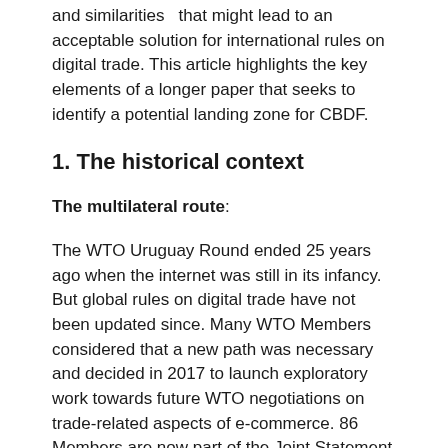and similarities  that might lead to an acceptable solution for international rules on digital trade. This article highlights the key elements of a longer paper that seeks to identify a potential landing zone for CBDF.
1. The historical context
The multilateral route:
The WTO Uruguay Round ended 25 years ago when the internet was still in its infancy. But global rules on digital trade have not been updated since. Many WTO Members considered that a new path was necessary and decided in 2017 to launch exploratory work towards future WTO negotiations on trade-related aspects of e-commerce. 86 Members are now part of the Joint Statement Initiative (JSI) on E-commerce. Progress has been made on some important issues with legal text for future rules nearly closed, hopefully with progress registered at the 12th Ministerial